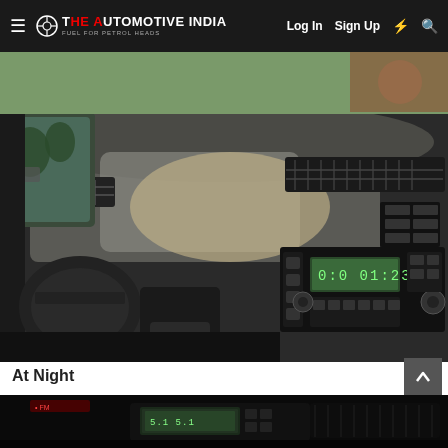THE AUTOMOTIVE INDIA | Log In | Sign Up
[Figure (photo): Interior dashboard photo of a Volkswagen Polo showing the center console, infotainment radio unit with green display, air vents, and side mirror view from inside the car, taken during daytime]
At Night
[Figure (photo): Interior dashboard photo of a Volkswagen Polo taken at night showing illuminated center console and infotainment unit in dark lighting]